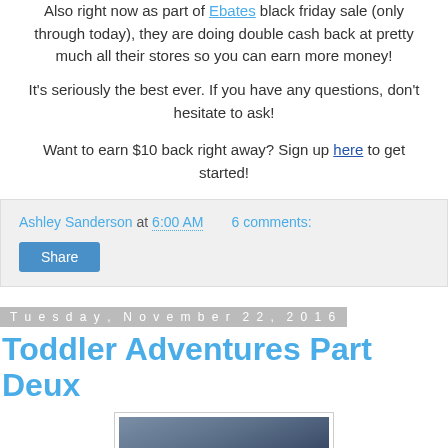Also right now as part of Ebates black friday sale (only through today), they are doing double cash back at pretty much all their stores so you can earn more money!
It's seriously the best ever. If you have any questions, don't hesitate to ask!
Want to earn $10 back right away? Sign up here to get started!
Ashley Sanderson at 6:00 AM   6 comments:
Share
Tuesday, November 22, 2016
Toddler Adventures Part Deux
[Figure (photo): Photo of person's lower body showing jeans and pink shoes]